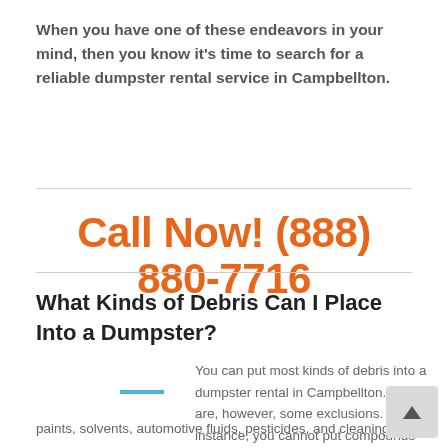When you have one of these endeavors in your mind, then you know it's time to search for a reliable dumpster rental service in Campbellton.
Call Now! (888) 880-7716
What Kinds of Debris Can I Place Into a Dumpster?
You can put most kinds of debris into a dumpster rental in Campbellton. There are, however, some exclusions. For instance, you cannot put compounds into a dumpster. That includes motor oil, paints, solvents, automotive fluids, pesticides, and cleaning